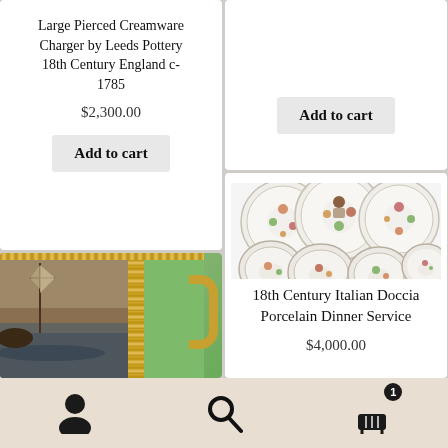Large Pierced Creamware Charger by Leeds Pottery 18th Century England c-1785
$2,300.00
Add to cart
[Figure (photo): Button: Add to cart (top right card)]
[Figure (photo): Collection of floral decorated porcelain plates and bowls - 18th Century Italian Doccia Porcelain Dinner Service]
18th Century Italian Doccia Porcelain Dinner Service
$4,000.00
[Figure (photo): Close-up of a decorative ceramic mug with maritime scene painting, gold decorative border, and green body with gold handle]